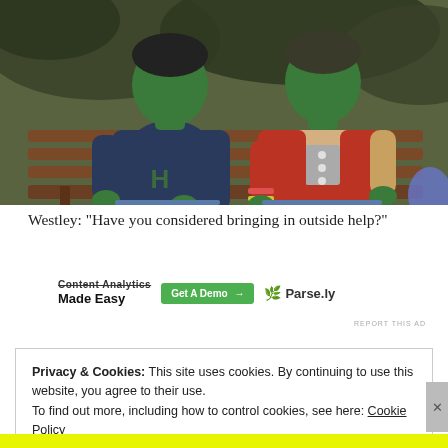[Figure (screenshot): Screenshot from The Sims video game showing two green-skinned Sim characters sitting on a bench outdoors. Left Sim wears a dark navy sweatshirt with 'H' letter logo; right Sim wears a red and tan varsity jacket.]
Westley: "Have you considered bringing in outside help?"
[Figure (screenshot): Advertisement banner for Parse.ly Content Analytics Made Easy with Get A Demo button]
REPORT THIS AD
Privacy & Cookies: This site uses cookies. By continuing to use this website, you agree to their use.
To find out more, including how to control cookies, see here: Cookie Policy
Close and accept